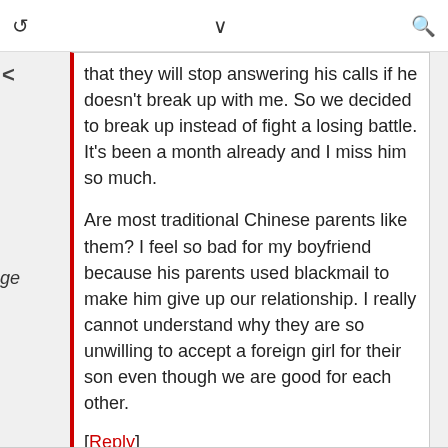↻ ∨ 🔍
that they will stop answering his calls if he doesn't break up with me. So we decided to break up instead of fight a losing battle. It's been a month already and I miss him so much.

Are most traditional Chinese parents like them? I feel so bad for my boyfriend because his parents used blackmail to make him give up our relationship. I really cannot understand why they are so unwilling to accept a foreign girl for their son even though we are good for each other.
[Reply]